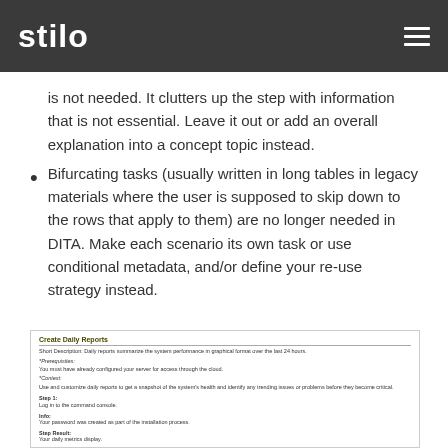stilo
is not needed. It clutters up the step with information that is not essential. Leave it out or add an overall explanation into a concept topic instead.
Bifurcating tasks (usually written in long tables in legacy materials where the user is supposed to skip down to the rows that apply to them) are no longer needed in DITA. Make each scenario its own task or use conditional metadata, and/or define your re-use strategy instead.
[Figure (screenshot): Screenshot of a document titled 'Create Daily Reports' showing short description, prerequisites, context, and steps including Step 1: Log in to the command console, Info: Your password was created as part of the installation process, Step Result: Your daily metrics display, and beginning of Step 2.]